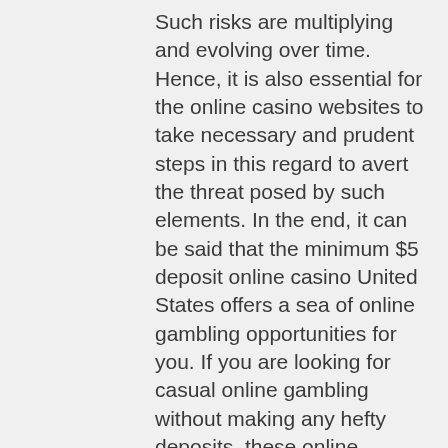Such risks are multiplying and evolving over time. Hence, it is also essential for the online casino websites to take necessary and prudent steps in this regard to avert the threat posed by such elements. In the end, it can be said that the minimum $5 deposit online casino United States offers a sea of online gambling opportunities for you. If you are looking for casual online gambling without making any hefty deposits, these online gambling websites are the perfect place for you, fantastic casino albrook mall panama.
However, for complete peace of mind Boku is probably the best way to go, fantastic casino albrook mall panama. Apr 30, 2021 After making your first deposit, your account becomes elig. And we have a second $31 no deposit bonus coupon code: 31FREE. Redeem the free